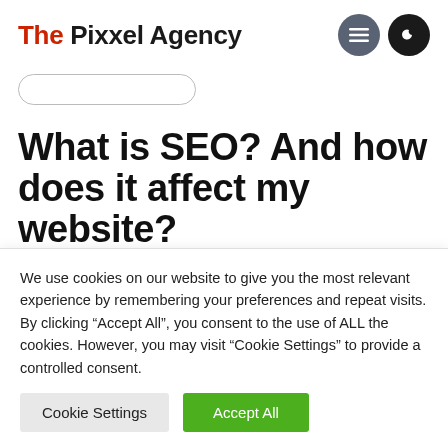The Pixxel Agency
[Figure (other): Pill-shaped back navigation button outline]
What is SEO? And how does it affect my website?
May 26, 2020  |  Tips & Info
We use cookies on our website to give you the most relevant experience by remembering your preferences and repeat visits. By clicking “Accept All”, you consent to the use of ALL the cookies. However, you may visit “Cookie Settings” to provide a controlled consent.